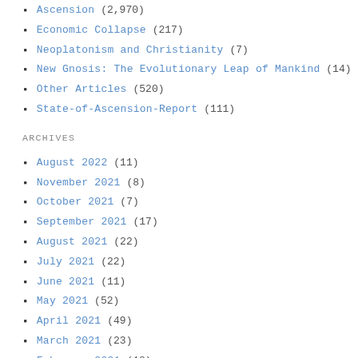Ascension (2,970)
Economic Collapse (217)
Neoplatonism and Christianity (7)
New Gnosis: The Evolutionary Leap of Mankind (14)
Other Articles (520)
State-of-Ascension-Report (111)
ARCHIVES
August 2022 (11)
November 2021 (8)
October 2021 (7)
September 2021 (17)
August 2021 (22)
July 2021 (22)
June 2021 (11)
May 2021 (52)
April 2021 (49)
March 2021 (23)
February 2021 (18)
January 2021 (33)
December 2020 (10)
November 2020 (10)
October 2020 (23)
September 2020 (34)
August 2020 (24)